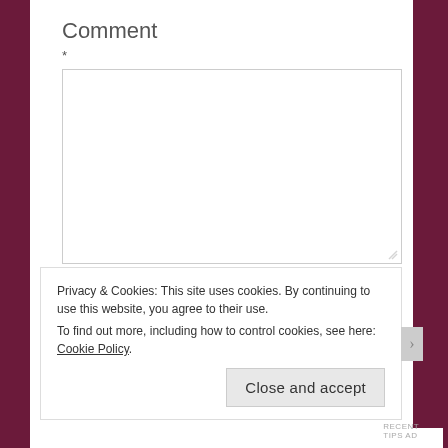Comment
*
Name *
Privacy & Cookies: This site uses cookies. By continuing to use this website, you agree to their use.
To find out more, including how to control cookies, see here: Cookie Policy
Close and accept
RECENT TIPS AD